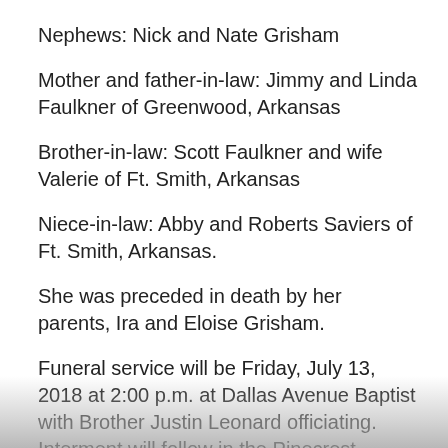Nephews: Nick and Nate Grisham
Mother and father-in-law: Jimmy and Linda Faulkner of Greenwood, Arkansas
Brother-in-law: Scott Faulkner and wife Valerie of Ft. Smith, Arkansas
Niece-in-law: Abby and Roberts Saviers of Ft. Smith, Arkansas.
She was preceded in death by her parents, Ira and Eloise Grisham.
Funeral service will be Friday, July 13, 2018 at 2:00 p.m. at Dallas Avenue Baptist with Brother Justin Leonard officiating. Interment will follow in the Pinecrest Memorial Park under the direction of the Beasley...